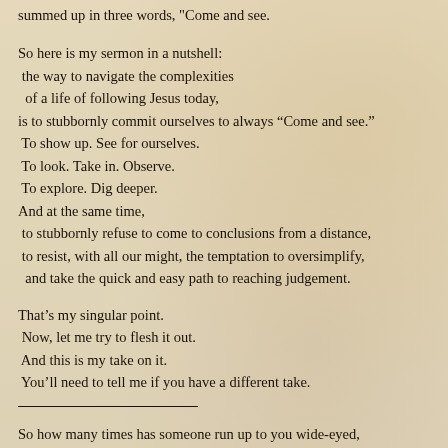summed up in three words, "Come and see."
So here is my sermon in a nutshell:
 the way to navigate the complexities
 of a life of following Jesus today,
is to stubbornly commit ourselves to always “Come and see.”
 To show up. See for ourselves.
 To look. Take in. Observe.
 To explore. Dig deeper.
And at the same time,
 to stubbornly refuse to come to conclusions from a distance,
 to resist, with all our might, the temptation to oversimplify,
 and take the quick and easy path to reaching judgement.
That’s my singular point.
 Now, let me try to flesh it out.
 And this is my take on it.
 You’ll need to tell me if you have a different take.
So how many times has someone run up to you wide-eyed,
 talking a mile-a-minute,